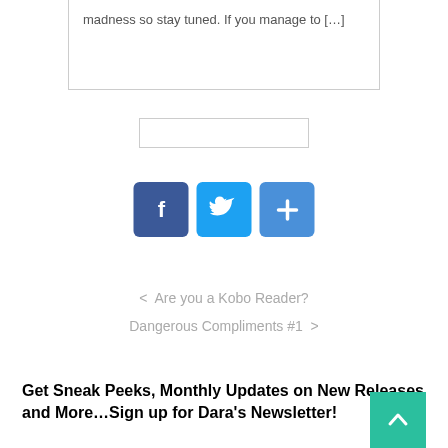madness so stay tuned. If you manage to […]
[Figure (other): Search input box (empty)]
[Figure (other): Social sharing buttons: Facebook (blue), Twitter (light blue), Plus/Share (blue)]
< Are you a Kobo Reader?
Dangerous Compliments #1 >
Get Sneak Peeks, Monthly Updates on New Releases and More…Sign up for Dara's Newsletter!
[Figure (other): Email Address input field]